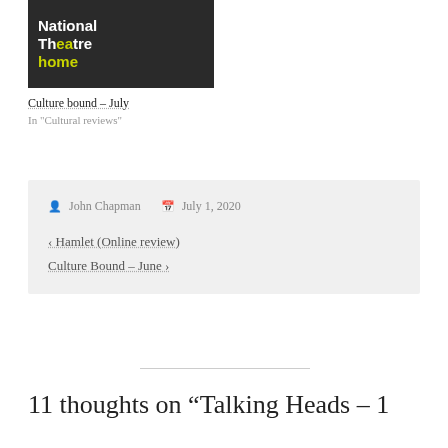[Figure (photo): National Theatre home logo/banner image with text 'National Theatre home' on dark background with a person visible]
Culture bound – July
In "Cultural reviews"
John Chapman   July 1, 2020
‹ Hamlet (Online review)
Culture Bound – June ›
11 thoughts on “Talking Heads – 1